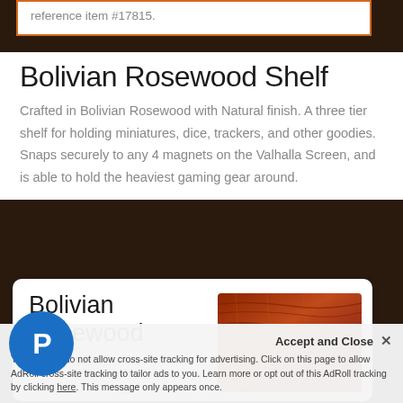reference item #17815.
Bolivian Rosewood Shelf
Crafted in Bolivian Rosewood with Natural finish. A three tier shelf for holding miniatures, dice, trackers, and other goodies. Snaps securely to any 4 magnets on the Valhalla Screen, and is able to hold the heaviest gaming gear around.
[Figure (other): Bolivian Rosewood wood swatch card showing the grain texture of the wood material]
You settings do not allow cross-site tracking for advertising. Click on this page to allow AdRoll cross-site tracking to tailor ads to you. Learn more or opt out of this AdRoll tracking by clicking here. This message only appears once.